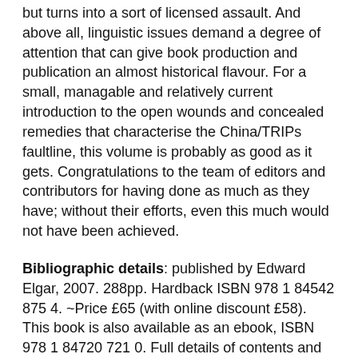frequently reluctant to engage in what is titled as debate but turns into a sort of licensed assault. And above all, linguistic issues demand a degree of attention that can give book production and publication an almost historical flavour. For a small, managable and relatively current introduction to the open wounds and concealed remedies that characterise the China/TRIPs faultline, this volume is probably as good as it gets. Congratulations to the team of editors and contributors for having done as much as they have; without their efforts, even this much would not have been achieved.
Bibliographic details: published by Edward Elgar, 2007. 288pp. Hardback ISBN 978 1 84542 875 4. ~Price £65 (with online discount £58). This book is also available as an ebook, ISBN 978 1 84720 721 0. Full details of contents and how to order here.
THE IPKAT LICENSES THE USE OF ITS BLOG POSTS UNDER A CREATIVE COMMONS ATTRIBUTION-NON COMMERCIAL LICENCE.